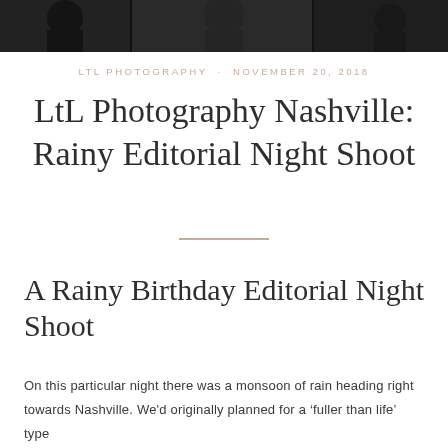[Figure (photo): Dark photo strip at top showing people at night, partially cropped]
LTL PHOTOGRAPHY · NOVEMBER 20, 2018
LtL Photography Nashville: Rainy Editorial Night Shoot
A Rainy Birthday Editorial Night Shoot
On this particular night there was a monsoon of rain heading right towards Nashville. We'd originally planned for a 'fuller than life' type